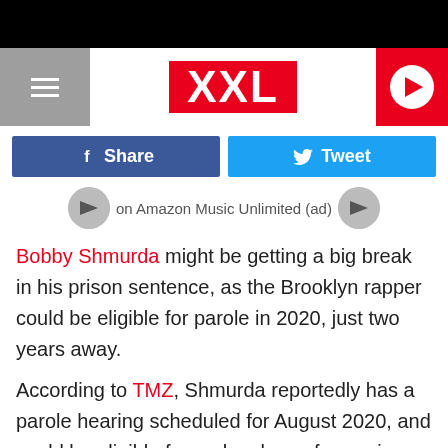XXL
[Figure (other): Facebook Share button and Twitter Tweet button]
on Amazon Music Unlimited (ad)
Bobby Shmurda might be getting a big break in his prison sentence, as the Brooklyn rapper could be eligible for parole in 2020, just two years away.
According to TMZ, Shmurda reportedly has a parole hearing scheduled for August 2020, and could be eligible for early release from prison on parole as early as December 2020.
The "Hot Boy" entertainer is currently serving a seven-year prison sentence at Clinton Correctional Facility in upstate